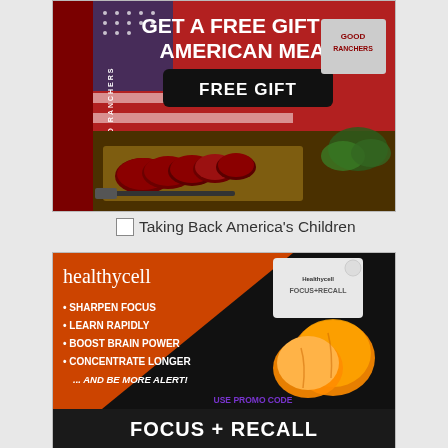[Figure (photo): Good Ranchers advertisement showing sliced meat on a cutting board with American flag motif and red background. Text reads 'GET A FREE GIFT OF AMERICAN MEAT' with a 'FREE GIFT' button.]
Taking Back America's Children
[Figure (photo): Healthycell Focus + Recall supplement advertisement. Features bullet points: SHARPEN FOCUS, LEARN RAPIDLY, BOOST BRAIN POWER, CONCENTRATE LONGER, ... AND BE MORE ALERT! Shows product packaging and peaches. Bottom text reads FOCUS + RECALL. Promo text: USE PROMO CODE GODZILLA FOR 20% OFF]